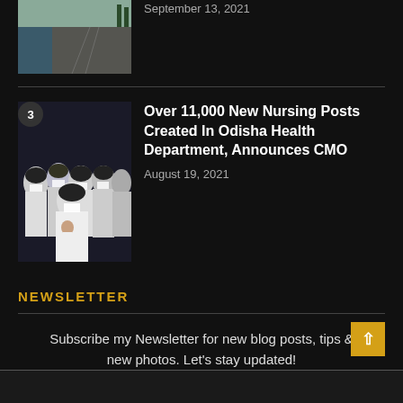[Figure (photo): Aerial or side view of a road/dam beside a river or water body]
September 13, 2021
[Figure (photo): Group of nurses wearing white uniforms and face masks]
Over 11,000 New Nursing Posts Created In Odisha Health Department, Announces CMO
August 19, 2021
NEWSLETTER
Subscribe my Newsletter for new blog posts, tips & new photos. Let's stay updated!